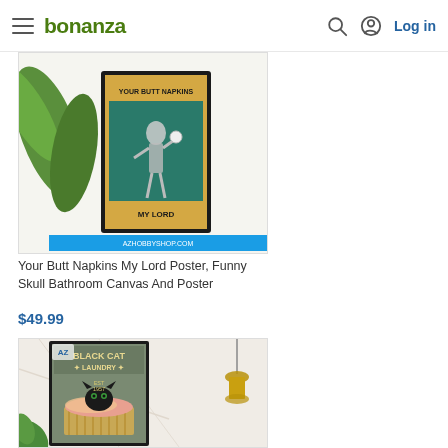bonanza — Log in
[Figure (photo): Product photo of 'Your Butt Napkins My Lord' skeleton poster print displayed in a room with plants and a vase]
Your Butt Napkins My Lord Poster, Funny Skull Bathroom Canvas And Poster
$49.99
[Figure (photo): Product photo of 'Black Cat Laundry Est 1957' poster with a black cat in a laundry basket, displayed with a hanging light]